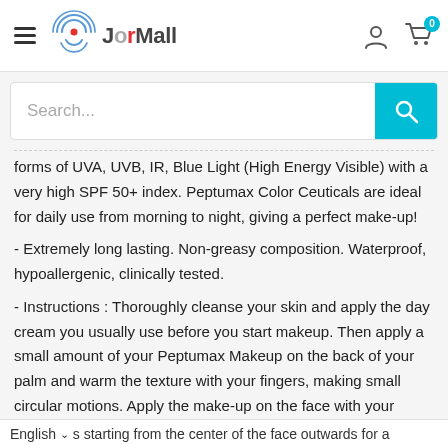JorMall — navigation header with hamburger menu, logo, user icon, and cart (0)
Search...
forms of UVA, UVB, IR, Blue Light (High Energy Visible) with a very high SPF 50+ index. Peptumax Color Ceuticals are ideal for daily use from morning to night, giving a perfect make-up!
- Extremely long lasting. Non-greasy composition. Waterproof, hypoallergenic, clinically tested.
- Instructions : Thoroughly cleanse your skin and apply the day cream you usually use before you start makeup. Then apply a small amount of your Peptumax Makeup on the back of your palm and warm the texture with your fingers, making small circular motions. Apply the make-up on the face with your
English  ∨  s starting from the center of the face outwards for a